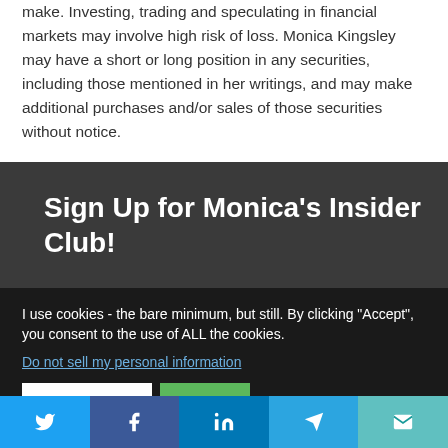make. Investing, trading and speculating in financial markets may involve high risk of loss. Monica Kingsley may have a short or long position in any securities, including those mentioned in her writings, and may make additional purchases and/or sales of those securities without notice.
Sign Up for Monica's Insider Club!
I use cookies - the bare minimum, but still. By clicking "Accept", you consent to the use of ALL the cookies.
Do not sell my personal information